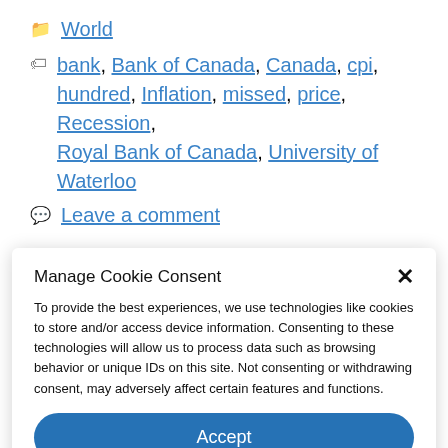World
bank, Bank of Canada, Canada, cpi, hundred, Inflation, missed, price, Recession, Royal Bank of Canada, University of Waterloo
Leave a comment
Manage Cookie Consent
To provide the best experiences, we use technologies like cookies to store and/or access device information. Consenting to these technologies will allow us to process data such as browsing behavior or unique IDs on this site. Not consenting or withdrawing consent, may adversely affect certain features and functions.
Accept
Cookie Policy